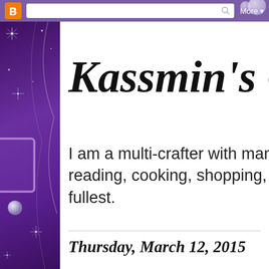Blogger navigation bar with search box and More button
[Figure (screenshot): Purple decorative blog header background with sparkles, stars, and a pearl decoration on the left sidebar]
Kassmin's Cr[afts]
I am a multi-crafter with many in[terests including] reading, cooking, shopping, orga[nizing, and living life to the] fullest.
Thursday, March 12, 2015
[Post title partially visible]